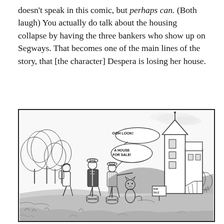doesn't speak in this comic, but perhaps can. (Both laugh) You actually do talk about the housing collapse by having the three bankers who show up on Segways. That becomes one of the main lines of the story, that [the character] Despera is losing her house.
[Figure (illustration): Black and white comic panel showing three bankers on Segways and a small cat-like character looking at a tall, quirky house with a 'FOR SALE' sign. Trees and hills in the background. Speech bubbles say 'OOH LOOK!' and 'A HOUSE FOR SALE!']